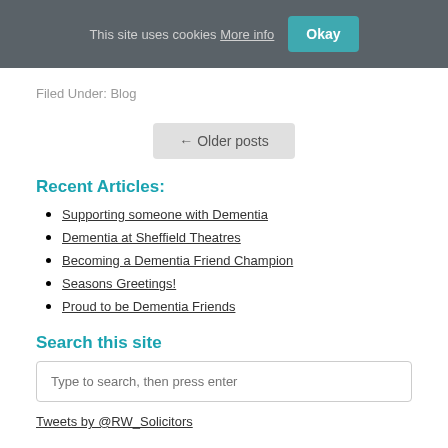This site uses cookies More info Okay
Filed Under: Blog
← Older posts
Recent Articles:
Supporting someone with Dementia
Dementia at Sheffield Theatres
Becoming a Dementia Friend Champion
Seasons Greetings!
Proud to be Dementia Friends
Search this site
Type to search, then press enter
Tweets by @RW_Solicitors